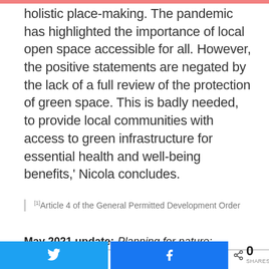holistic place-making.  The pandemic has highlighted the importance of local open space accessible for all.  However, the positive statements are negated by the lack of a full review of the protection of green space.  This is badly needed, to provide local communities with access to green infrastructure for essential health and well-being benefits,' Nicola concludes.
[1]Article 4 of the General Permitted Development Order
May 2021 update:  Planning for nature:
[Figure (other): Social share buttons: Twitter (blue), Facebook (blue), and share count showing 0 SHARES]